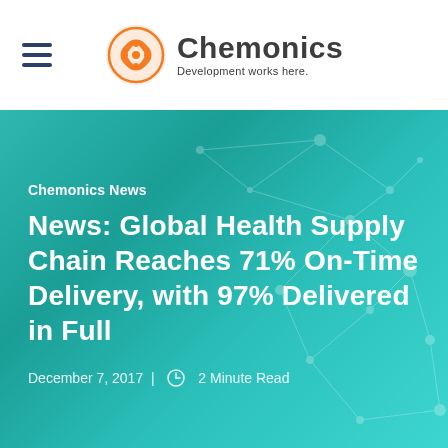[Figure (logo): Chemonics logo with orange circular icon and text 'Chemonics - Development works here.']
Chemonics News
News: Global Health Supply Chain Reaches 71% On-Time Delivery, with 97% Delivered in Full
December 7, 2017 | 2 Minute Read